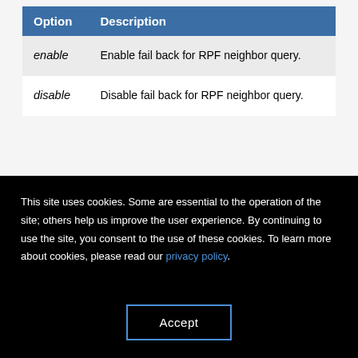| Option | Description |
| --- | --- |
| enable | Enable fail back for RPF neighbor query. |
| disable | Disable fail back for RPF neighbor query. |
This site uses cookies. Some are essential to the operation of the site; others help us improve the user experience. By continuing to use the site, you consent to the use of these cookies. To learn more about cookies, please read our privacy policy.